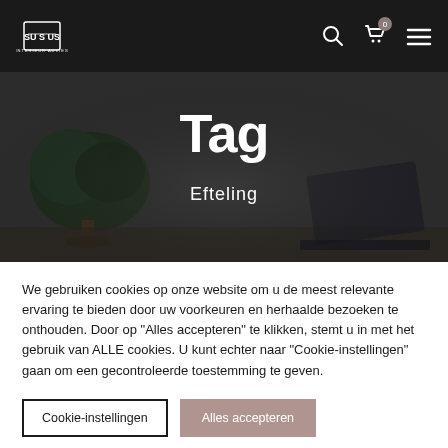[Figure (logo): Suctus interior advice and styling logo in white on dark background]
Navigation bar with search icon, cart icon with badge 0, and hamburger menu
[Figure (photo): Dark moody hero image with bonsai tree on a table, background items including a laptop]
Tag
Efteling
We gebruiken cookies op onze website om u de meest relevante ervaring te bieden door uw voorkeuren en herhaalde bezoeken te onthouden. Door op "Alles accepteren" te klikken, stemt u in met het gebruik van ALLE cookies. U kunt echter naar "Cookie-instellingen" gaan om een gecontroleerde toestemming te geven.
Cookie-instellingen
Alles accepteren